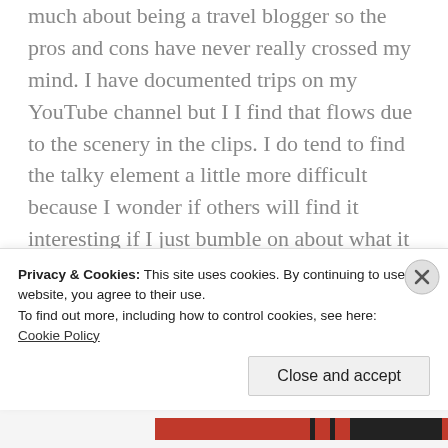much about being a travel blogger so the pros and cons have never really crossed my mind. I have documented trips on my YouTube channel but I I find that flows due to the scenery in the clips. I do tend to find the talky element a little more difficult because I wonder if others will find it interesting if I just bumble on about what it is like! Completely agree about research though, seeing how others have gone
Privacy & Cookies: This site uses cookies. By continuing to use this website, you agree to their use.
To find out more, including how to control cookies, see here:
Cookie Policy
Close and accept